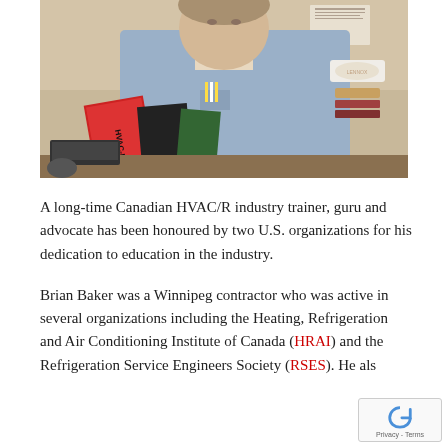[Figure (photo): A man in a light blue uniform shirt with patches and badges sits at a desk. In front of him are several textbooks with red and black covers. The setting appears to be an office or workspace.]
A long-time Canadian HVAC/R industry trainer, guru and advocate has been honoured by two U.S. organizations for his dedication to education in the industry.
Brian Baker was a Winnipeg contractor who was active in several organizations including the Heating, Refrigeration and Air Conditioning Institute of Canada (HRAI) and the Refrigeration Service Engineers Society (RSES). He als...